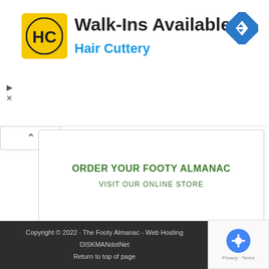[Figure (logo): Hair Cuttery ad banner with HC logo, 'Walk-Ins Available' title, 'Hair Cuttery' subtitle in blue, and a navigation arrow icon top right. Play and close controls on left.]
ORDER YOUR FOOTY ALMANAC
VISIT OUR ONLINE STORE
[Figure (logo): Interchanger badge logo - circular badge with dark navy border, blue background, football stadium graphic, red banner reading INTERCHANGER, ESTD 2012 text]
Copyright © 2022 · The Footy Almanac - Web Hosting DISKMANdotNet
Return to top of page